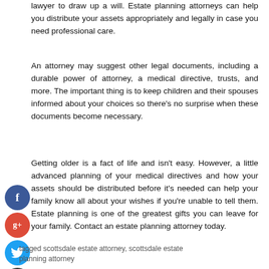lawyer to draw up a will. Estate planning attorneys can help you distribute your assets appropriately and legally in case you need professional care.
An attorney may suggest other legal documents, including a durable power of attorney, a medical directive, trusts, and more. The important thing is to keep children and their spouses informed about your choices so there's no surprise when these documents become necessary.
Getting older is a fact of life and isn't easy. However, a little advanced planning of your medical directives and how your assets should be distributed before it's needed can help your family know all about your wishes if you're unable to tell them. Estate planning is one of the greatest gifts you can leave for your family. Contact an estate planning attorney today.
tagged scottsdale estate attorney, scottsdale estate planning attorney